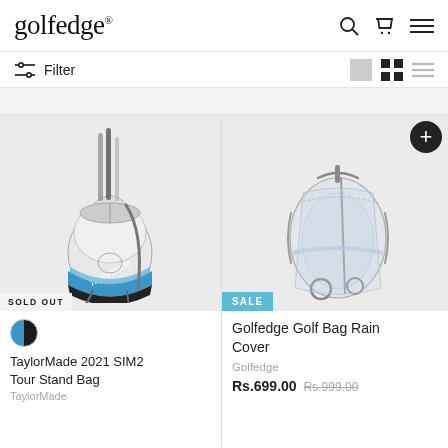golfedge®
Filter
[Figure (photo): TaylorMade 2021 SIM2 Tour Stand Bag — dark gray and blue golf stand bag with clubs, on light gray background. SOLD OUT badge shown.]
SOLD OUT
TaylorMade 2021 SIM2 Tour Stand Bag
TaylorMade
[Figure (photo): Golfedge Golf Bag Rain Cover — clear/transparent rain cover on a golf bag, light gray background. SALE badge shown.]
SALE
Golfedge Golf Bag Rain Cover
Golfedge
Rs.699.00  Rs.999.00